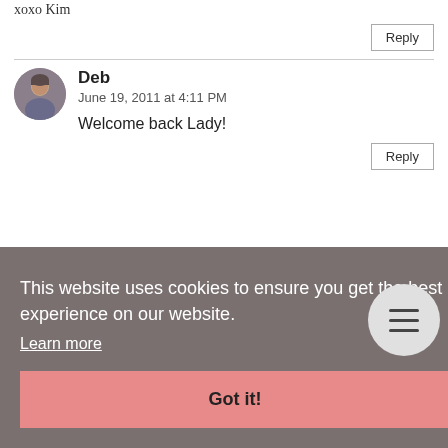xoxo Kim
Reply
Deb
June 19, 2011 at 4:11 PM
Welcome back Lady!
Reply
This website uses cookies to ensure you get the best experience on our website.
Learn more
Got it!